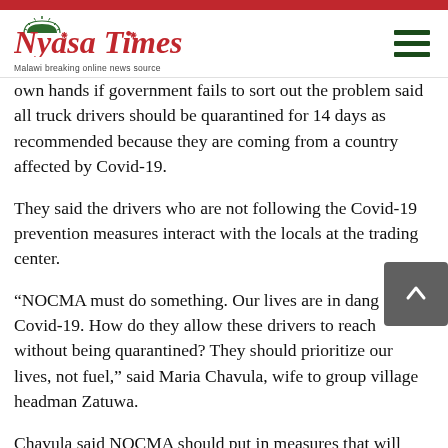Nyasa Times — Malawi breaking online news source
own hands if government fails to sort out the problem said all truck drivers should be quarantined for 14 days as recommended because they are coming from a country affected by Covid-19.
They said the drivers who are not following the Covid-19 prevention measures interact with the locals at the trading center.
“NOCMA must do something. Our lives are in danger from Covid-19. How do they allow these drivers to reach here without being quarantined? They should prioritize our lives, not fuel,” said Maria Chavula, wife to group village headman Zatuwa.
Chavula said NOCMA should put in measures that will ensure the drivers are following the Covid-19 restrictions.